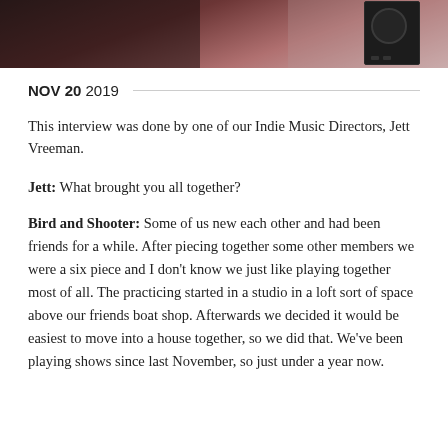[Figure (photo): Partial photo strip at top showing dark reddish-brown background with what appears to be a black amplifier or equipment on the right side]
NOV 20 2019
This interview was done by one of our Indie Music Directors, Jett Vreeman.
Jett: What brought you all together?
Bird and Shooter: Some of us new each other and had been friends for a while. After piecing together some other members we were a six piece and I don't know we just like playing together most of all. The practicing started in a studio in a loft sort of space above our friends boat shop. Afterwards we decided it would be easiest to move into a house together, so we did that. We've been playing shows since last November, so just under a year now.